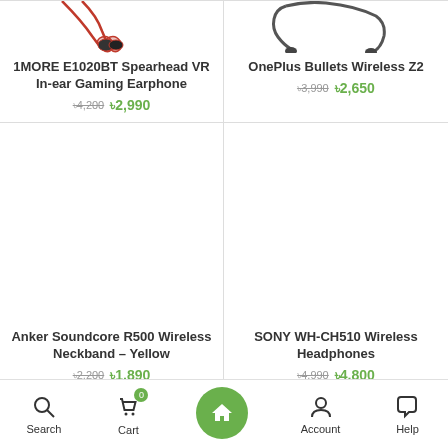[Figure (photo): 1MORE E1020BT Spearhead VR In-ear Gaming Earphone product image (partial, top cropped)]
1MORE E1020BT Spearhead VR In-ear Gaming Earphone
৳4,200 ৳2,990
[Figure (photo): OnePlus Bullets Wireless Z2 product image (partial, top cropped)]
OnePlus Bullets Wireless Z2
৳3,990 ৳2,650
[Figure (photo): Anker Soundcore R500 Wireless Neckband Yellow product image (blank/white area)]
Anker Soundcore R500 Wireless Neckband – Yellow
৳2,200 ৳1,890
[Figure (photo): SONY WH-CH510 Wireless Headphones product image (blank/white area)]
SONY WH-CH510 Wireless Headphones
৳4,990 ৳4,800
Search  Cart 0  Home  Account  Help